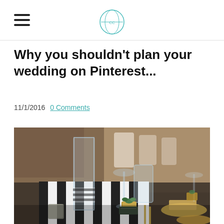[Navigation header with hamburger menu and logo]
Why you shouldn't plan your wedding on Pinterest...
11/1/2016   0 Comments
[Figure (photo): Elegant wedding table setting with crystal glassware, striped black and white table runner, gold plates, and a small succulent plant in a gold pot, with blurred venue background]